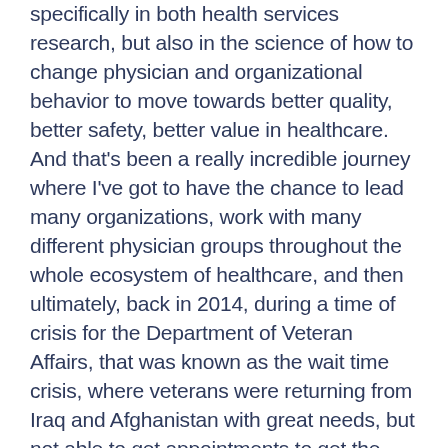specifically in both health services research, but also in the science of how to change physician and organizational behavior to move towards better quality, better safety, better value in healthcare. And that's been a really incredible journey where I've got to have the chance to lead many organizations, work with many different physician groups throughout the whole ecosystem of healthcare, and then ultimately, back in 2014, during a time of crisis for the Department of Veteran Affairs, that was known as the wait time crisis, where veterans were returning from Iraq and Afghanistan with great needs, but not able to get appointments to get the help that they needed, that resulted in the White House reaching out to me and asking whether I'd be willing to come to try to help that situation.